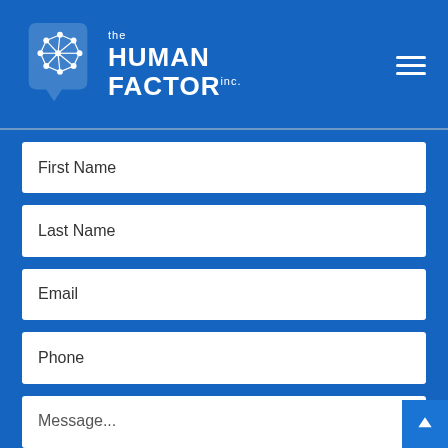[Figure (logo): The Human Factor Inc. logo — white brain/hexagon icon with white text on blue background, with hamburger menu icon on right]
First Name
Last Name
Email
Phone
Message...